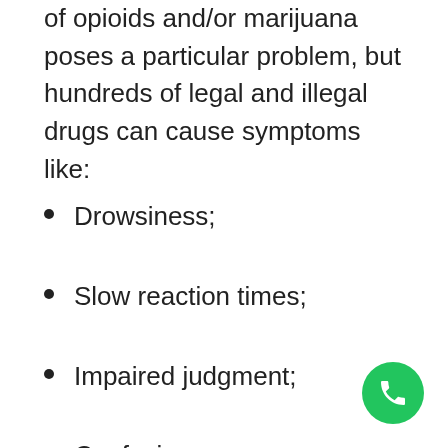of opioids and/or marijuana poses a particular problem, but hundreds of legal and illegal drugs can cause symptoms like:
Drowsiness;
Slow reaction times;
Impaired judgment;
Confusion;
Dizziness; and